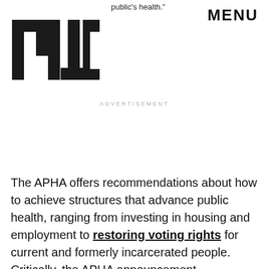public's health." MENU
[Figure (logo): MIC magazine logo in bold block letters]
ADVERTISEMENT
The APHA offers recommendations about how to achieve structures that advance public health, ranging from investing in housing and employment to restoring voting rights for current and formerly incarcerated people. Critically, the APHA announcement acknowledges the systemic and racist nature of the criminal-legal system, in that some